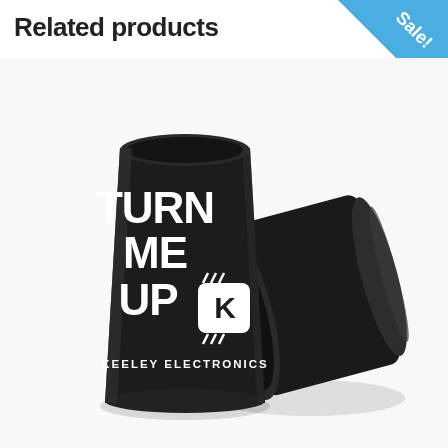Related products
[Figure (photo): Two black shot glasses with 'TURN ME UP' and Keeley Electronics logo printed in white on the front. One glass stands upright showing the text, the other is tipped on its side. A blue 'Sale!' triangular badge appears in the top right corner of the image.]